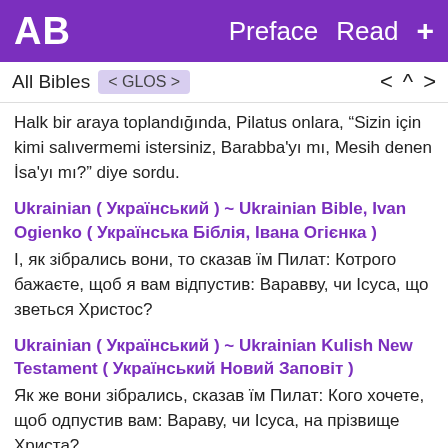AB   Preface  Read  +
All Bibles   < GLOS >        <  ^  >
Halk bir araya toplandığında, Pilatus onlara, "Sizin için kimi salıvermemi istersiniz, Barabba'yı mı, Mesih denen İsa'yı mı?" diye sordu.
Ukrainian ( Український ) ~ Ukrainian Bible, Ivan Ogienko ( Українська Біблія, Івана Огієнка )
І, як зібрались вони, то сказав їм Пилат: Котрого бажаєте, щоб я вам відпустив: Варавву, чи Ісуса, що зветься Христос?
Ukrainian ( Український ) ~ Ukrainian Kulish New Testament ( Український Новий Заповіт )
Як же вони зібрались, сказав їм Пилат: Кого хочете, щоб одпустив вам: Вараву, чи Ісуса, на прізвище Христа?
Urdu ( اردو ) ~ Urdu Bible, Devanagari ( उर्दू बाइबल, देवनागरी )